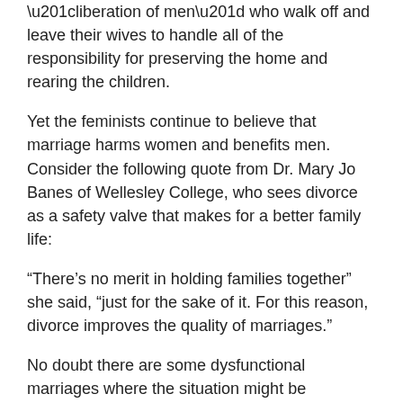“liberation of men” who walk off and leave their wives to handle all of the responsibility for preserving the home and rearing the children.
Yet the feminists continue to believe that marriage harms women and benefits men. Consider the following quote from Dr. Mary Jo Banes of Wellesley College, who sees divorce as a safety valve that makes for a better family life:
“There’s no merit in holding families together” she said, “just for the sake of it. For this reason, divorce improves the quality of marriages.”
No doubt there are some dysfunctional marriages where the situation might be improved by a divorce but I doubt that the millions of women who have been left with the responsibility of raising the children by themselves while their husbands resume the single life would agree that this has improved the quality of their lives.
Of course, the feminists are operating on an assumption